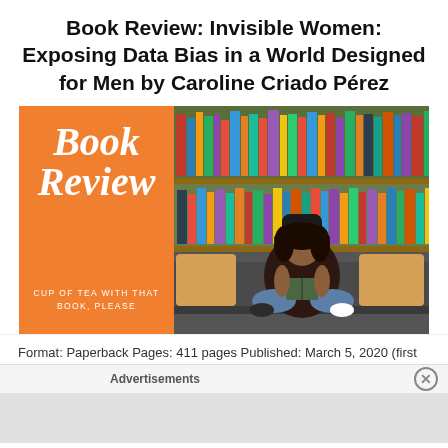Book Review: Invisible Women: Exposing Data Bias in a World Designed for Men by Caroline Criado Pérez
[Figure (illustration): Book review banner image with orange left panel containing cursive 'Book Review' text and 'CUP OF TEA WITH THAT BOOK, PLEASE' subtitle, and right panel showing a woman with a hat sitting cross-legged on a couch reading a book, with a bookshelf in the background.]
Format: Paperback Pages: 411 pages Published: March 5, 2020 (first
Advertisements